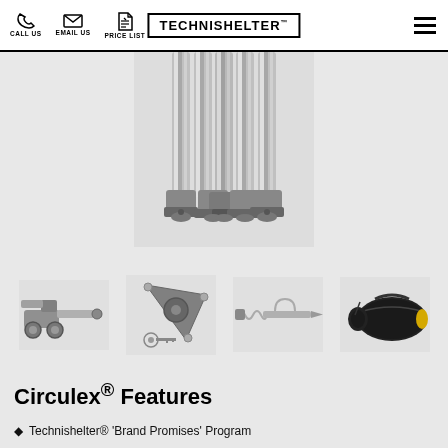TECHNISHELTER™ — CALL US | EMAIL US | PRICE LIST
[Figure (photo): Close-up of Circulex aluminum round tube columns/legs bundled together at their base with metal foot connectors, shown on a light grey background]
[Figure (photo): Row of Circulex components: (1) metal hinge/bracket assembly, (2) triangular locking corner connector with keys, (3) spring pin and anchor stake assembly, (4) black carry bag with yellow item inside]
Circulex® Features
Technishelter® 'Brand Promises' Program